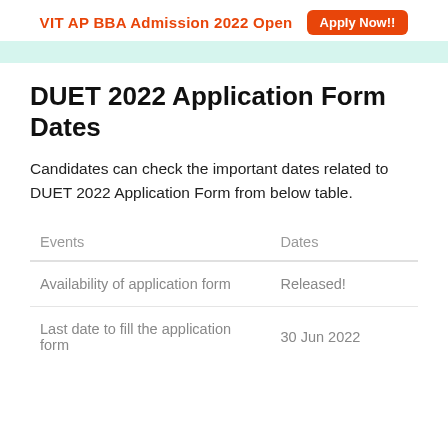VIT AP BBA Admission 2022 Open  Apply Now!!
DUET 2022 Application Form Dates
Candidates can check the important dates related to DUET 2022 Application Form from below table.
| Events | Dates |
| --- | --- |
| Availability of application form | Released! |
| Last date to fill the application form | 30 Jun 2022 |